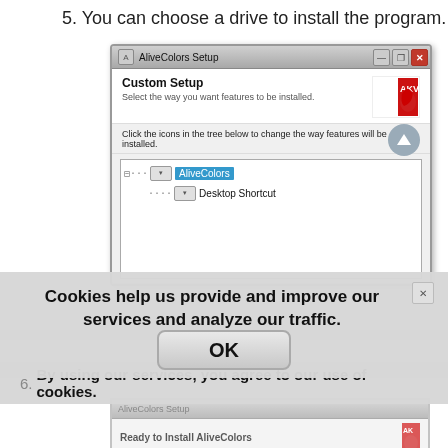5. You can choose a drive to install the program.
[Figure (screenshot): AliveColors Setup window showing Custom Setup dialog with feature tree (AliveColors, Desktop Shortcut) and location path C:\Program Files\AKVIS\AliveColors\]
Cookies help us provide and improve our services and analyze our traffic.
6. By using our services, you agree to our use of cookies.
[Figure (screenshot): Partial AliveColors Setup window showing Ready to Install AliveColors step with AKVIS logo]